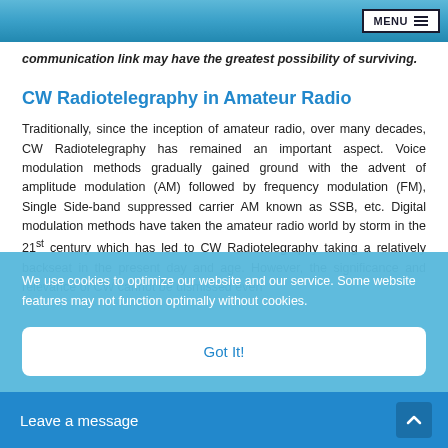MENU
communication link may have the greatest possibility of surviving.
CW Radiotelegraphy in Amateur Radio
Traditionally, since the inception of amateur radio, over many decades, CW Radiotelegraphy has remained an important aspect. Voice modulation methods gradually gained ground with the advent of amplitude modulation (AM) followed by frequency modulation (FM), Single Side-band suppressed carrier AM known as SSB, etc. Digital modulation methods have taken the amateur radio world by storm in the 21st century which has led to CW Radiotelegraphy taking a relatively backseat in the present day and age. However, the significance and relevance of CW cannot be dismissed even
We use cookies to optimize our website and our service. Some website features may not function optimally without cookies.
Got It!
Leave a message